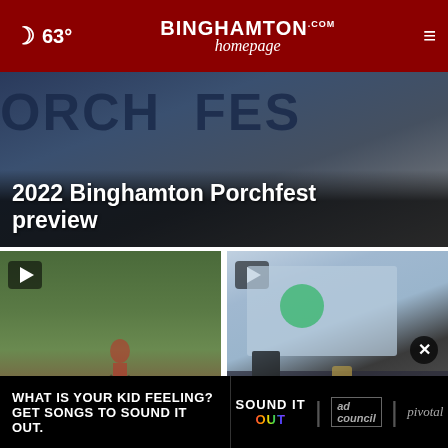63° — Binghamton Homepage
[Figure (screenshot): Featured news video thumbnail showing Binghamton Porchfest sign with large letters ORCH FES visible, dark blue background]
2022 Binghamton Porchfest preview
[Figure (screenshot): Video thumbnail of a soccer player in red kit running on a track/soccer field with green grass background. Play button in top left corner.]
Local schools hos soc
[Figure (screenshot): Video thumbnail showing a projector screen with Spotify interface visible, and SUNY display items on table. Play button in top left corner. Close X button visible.]
Local Civil War
[Figure (infographic): Ad banner: WHAT IS YOUR KID FEELING? GET SONGS TO SOUND IT OUT. Sound It Out logo with colorful letters, ad council logo, pivotal branding.]